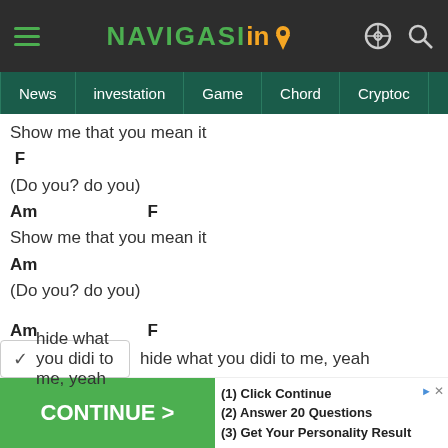NAVIGASI info — hamburger menu, theme toggle, search
News | investation | Game | Chord | Cryptoc
Show me that you mean it
 F
(Do you? do you)
Am               F
Show me that you mean it
Am
(Do you? do you)

Am               F
Time's up what you gonna say next?
F               Am
hide what you didi to me, yeah